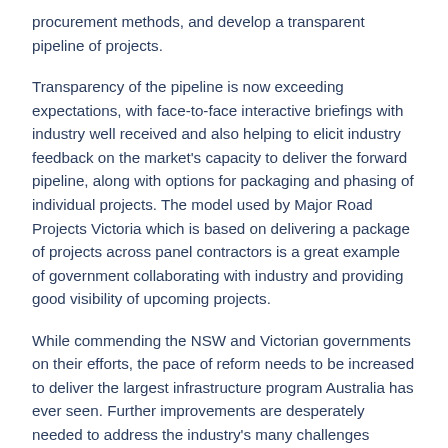procurement methods, and develop a transparent pipeline of projects.
Transparency of the pipeline is now exceeding expectations, with face-to-face interactive briefings with industry well received and also helping to elicit industry feedback on the market's capacity to deliver the forward pipeline, along with options for packaging and phasing of individual projects. The model used by Major Road Projects Victoria which is based on delivering a package of projects across panel contractors is a great example of government collaborating with industry and providing good visibility of upcoming projects.
While commending the NSW and Victorian governments on their efforts, the pace of reform needs to be increased to deliver the largest infrastructure program Australia has ever seen. Further improvements are desperately needed to address the industry's many challenges including high rates of insolvencies, low productivity growth, lack of diversity and poor mental health.